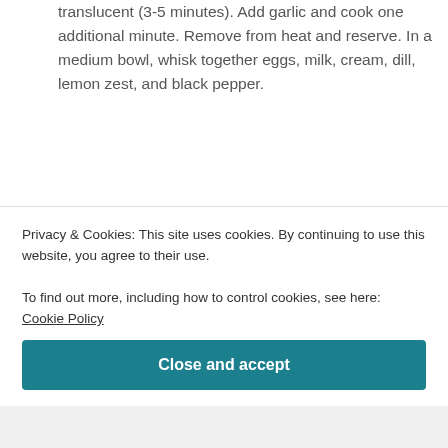translucent (3-5 minutes). Add garlic and cook one additional minute. Remove from heat and reserve. In a medium bowl, whisk together eggs, milk, cream, dill, lemon zest, and black pepper.
5. Line the bottom of the quiche crust with cooked leeks and garlic. Put one layer down of half the smoked salmon and goat cheese. Pour half of the egg mixture over the salmon and goat cheese in the quiche shell. Layer down the remaining salmon and goat cheese, and pour the remaining egg mixture over it. (Note: You may have a small
Privacy & Cookies: This site uses cookies. By continuing to use this website, you agree to their use.
To find out more, including how to control cookies, see here: Cookie Policy
Close and accept